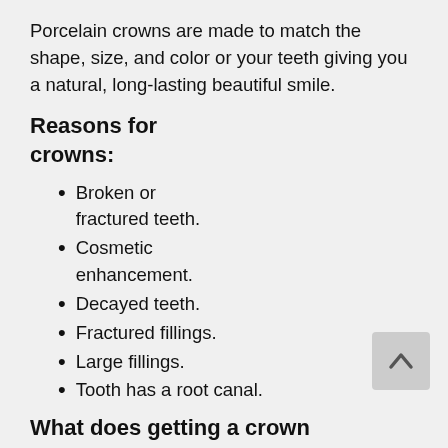Porcelain crowns are made to match the shape, size, and color or your teeth giving you a natural, long-lasting beautiful smile.
Reasons for crowns:
Broken or fractured teeth.
Cosmetic enhancement.
Decayed teeth.
Fractured fillings.
Large fillings.
Tooth has a root canal.
What does getting a crown involve?
A crown procedure usually requires two appointments. Your first appointment will include taking several highly